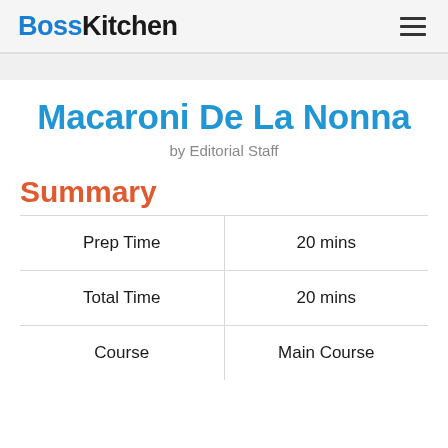BossKitchen
Macaroni De La Nonna
by Editorial Staff
Summary
| Prep Time | 20 mins |
| Total Time | 20 mins |
| Course | Main Course |